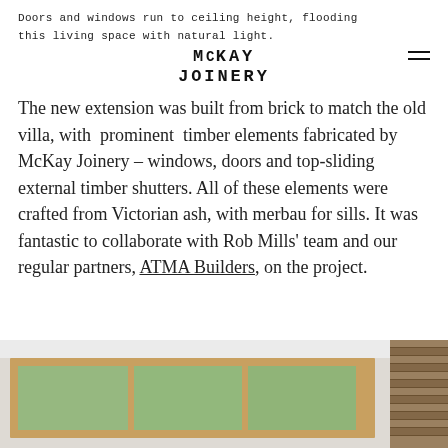Doors and windows run to ceiling height, flooding this living space with natural light.
McKAY JOINERY
The new extension was built from brick to match the old villa, with prominent timber elements fabricated by McKay Joinery – windows, doors and top-sliding external timber shutters. All of these elements were crafted from Victorian ash, with merbau for sills. It was fantastic to collaborate with Rob Mills' team and our regular partners, ATMA Builders, on the project.
[Figure (photo): Interior photo showing timber-framed windows looking out to greenery, with timber wall cladding visible on the right side.]